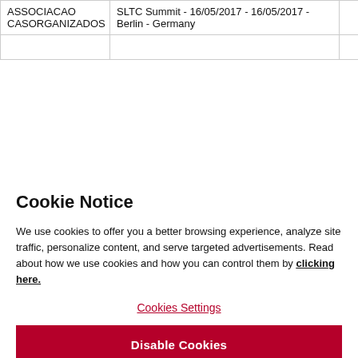| ASSOCIACAO CASORGANIZADOS | SLTC Summit - 16/05/2017 - 16/05/2017 - Berlin - Germany | 1.80 |
|  |  |  |
Cookie Notice
We use cookies to offer you a better browsing experience, analyze site traffic, personalize content, and serve targeted advertisements. Read about how we use cookies and how you can control them by clicking here.
Cookies Settings
Disable Cookies
Accept All Cookies